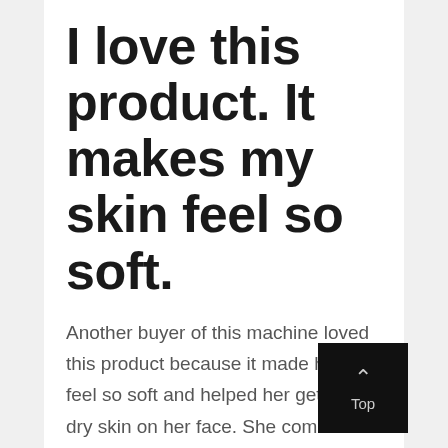I love this product. It makes my skin feel so soft.
Another buyer of this machine loved this product because it made her skin feel so soft and helped her get rid of dry skin on her face. She commented that she had experienced no problems with burns or super red marks like she had read about in other reviews. She said just be sure you watch the video that